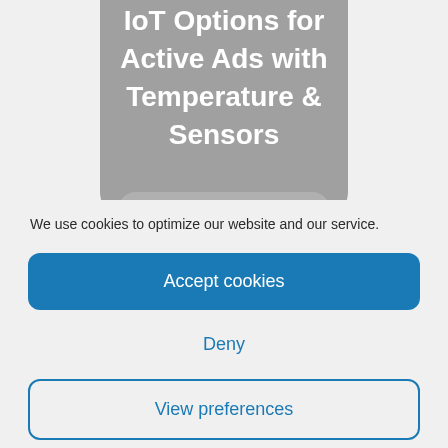[Figure (screenshot): Partial view of a rounded gray UI button/card showing white bold text: 'IoT Options for Active Ads with Temperature & Sensors', with a gray rounded tab/handle shape below it, on a light gray background.]
We use cookies to optimize our website and our service.
Accept cookies
Deny
View preferences
Cookie Policy